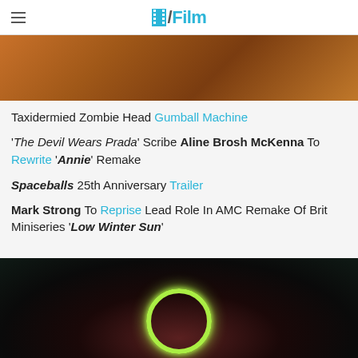/Film
[Figure (photo): Close-up warm-toned image, appears to be an animal or textured surface with orange/brown tones]
Taxidermied Zombie Head Gumball Machine
'The Devil Wears Prada' Scribe Aline Brosh McKenna To Rewrite 'Annie' Remake
Spaceballs 25th Anniversary Trailer
Mark Strong To Reprise Lead Role In AMC Remake Of Brit Miniseries 'Low Winter Sun'
[Figure (photo): Dark image with a glowing green circular ring element visible, dark background with reddish tones]